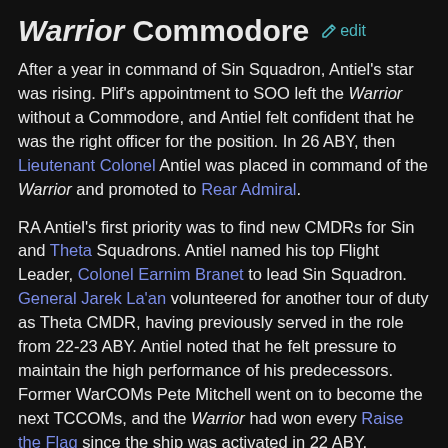Warrior Commodore  edit
After a year in command of Sin Squadron, Antiel's star was rising. Plif's appointment to SOO left the Warrior without a Commodore, and Antiel felt confident that he was the right officer for the position. In 26 ABY, then Lieutenant Colonel Antiel was placed in command of the Warrior and promoted to Rear Admiral.
RA Antiel's first priority was to find new CMDRs for Sin and Theta Squadrons. Antiel named his top Flight Leader, Colonel Earnim Branet to lead Sin Squadron. General Jarek La'an volunteered for another tour of duty as Theta CMDR, having previously served in the role from 22-23 ABY. Antiel noted that he felt pressure to maintain the high performance of his predecessors. Former WarCOMs Pete Mitchell went on to become the next TCCOMs, and the Warrior had won every Raise the Flag since the ship was activated in 22 ABY.
The Warrior belongs to her pilots. It's your ship, after